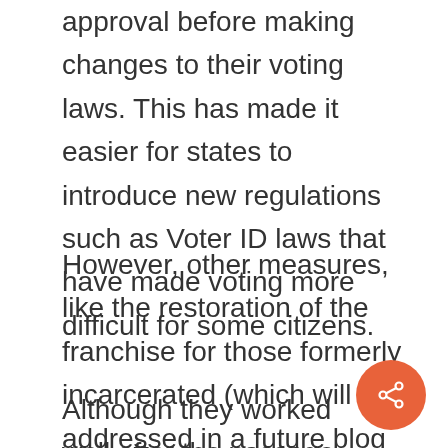approval before making changes to their voting laws. This has made it easier for states to introduce new regulations such as Voter ID laws that have made voting more difficult for some citizens.
However, other measures, like the restoration of the franchise for those formerly incarcerated (which will be addressed in a future blog post), have added more voters to the rolls in Virginia.
Although they worked well after the passage of the 19th Amendment,